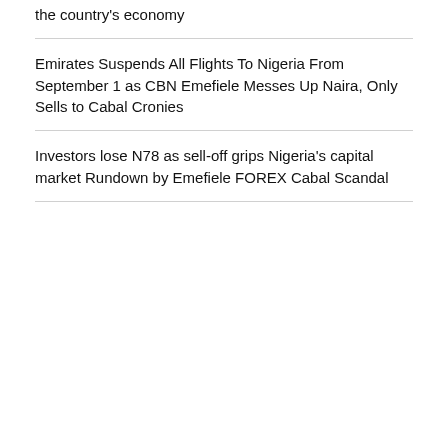the country's economy
Emirates Suspends All Flights To Nigeria From September 1 as CBN Emefiele Messes Up Naira, Only Sells to Cabal Cronies
Investors lose N78 as sell-off grips Nigeria's capital market Rundown by Emefiele FOREX Cabal Scandal